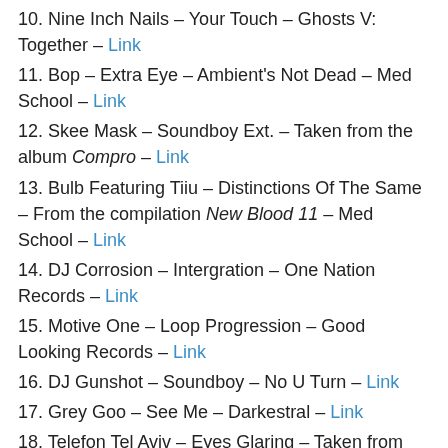10. Nine Inch Nails – Your Touch – Ghosts V: Together – Link
11. Bop – Extra Eye – Ambient's Not Dead – Med School – Link
12. Skee Mask – Soundboy Ext. – Taken from the album Compro – Link
13. Bulb Featuring Tiiu – Distinctions Of The Same – From the compilation New Blood 11 – Med School – Link
14. DJ Corrosion – Intergration – One Nation Records – Link
15. Motive One – Loop Progression – Good Looking Records – Link
16. DJ Gunshot – Soundboy – No U Turn – Link
17. Grey Goo – See Me – Darkestral – Link
18. Telefon Tel Aviv – Eyes Glaring – Taken from the album Dreams Are Not Enough – Ghostly International – Link